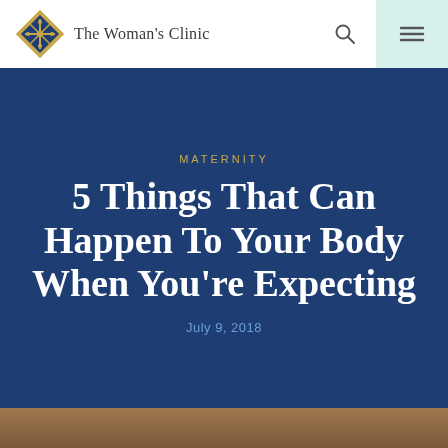The Woman's Clinic
Maternity
5 Things That Can Happen To Your Body When You're Expecting
July 9, 2018
[Figure (photo): Bottom image strip showing a partial photograph]